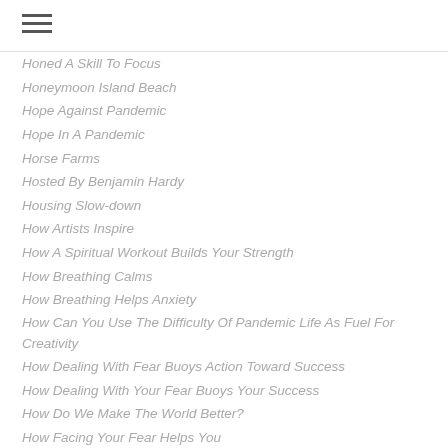Honed A Skill To Focus
Honeymoon Island Beach
Hope Against Pandemic
Hope In A Pandemic
Horse Farms
Hosted By Benjamin Hardy
Housing Slow-down
How Artists Inspire
How A Spiritual Workout Builds Your Strength
How Breathing Calms
How Breathing Helps Anxiety
How Can You Use The Difficulty Of Pandemic Life As Fuel For Creativity
How Dealing With Fear Buoys Action Toward Success
How Dealing With Your Fear Buoys Your Success
How Do We Make The World Better?
How Facing Your Fear Helps You
How I Know I'm On The Right Track.